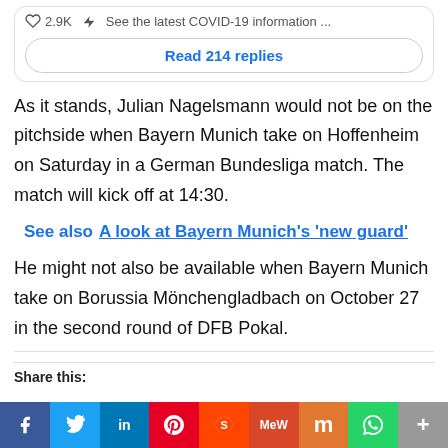♡ 2.9K  ⚡ See the latest COVID-19 information ...
Read 214 replies
As it stands, Julian Nagelsmann would not be on the pitchside when Bayern Munich take on Hoffenheim on Saturday in a German Bundesliga match. The match will kick off at 14:30.
See also  A look at Bayern Munich's 'new guard'
He might not also be available when Bayern Munich take on Borussia Mönchengladbach on October 27 in the second round of DFB Pokal.
Share this:
[Figure (infographic): Social media share buttons bar: Facebook (blue), Twitter (light blue), LinkedIn (dark blue), Pinterest (red), Reddit (orange-red), MeWe (dark red-orange), Mix (orange), WhatsApp (green), More (grey)]